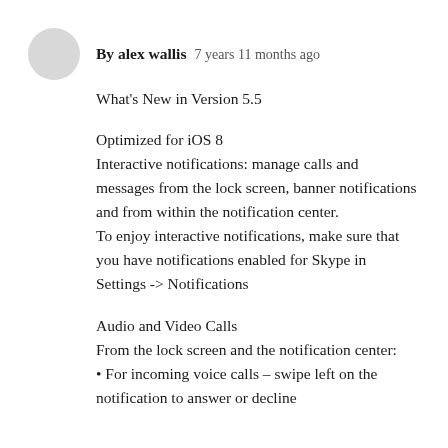[Figure (illustration): Circular grey avatar/profile picture placeholder]
By alex wallis   7 years 11 months ago
What's New in Version 5.5
Optimized for iOS 8
Interactive notifications: manage calls and messages from the lock screen, banner notifications and from within the notification center.
To enjoy interactive notifications, make sure that you have notifications enabled for Skype in Settings -> Notifications
Audio and Video Calls
From the lock screen and the notification center:
• For incoming voice calls – swipe left on the notification to answer or decline